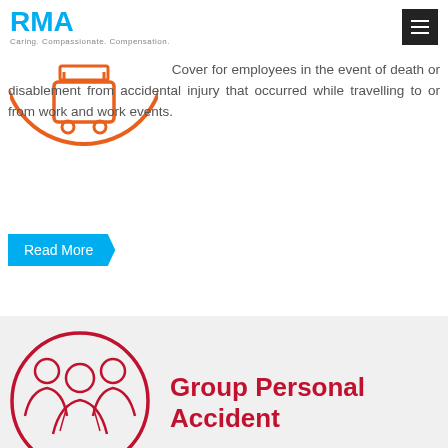[Figure (logo): RMA logo with tagline 'Caring. Compassionate. Compensation.']
[Figure (illustration): Orange circle with car/transport icon representing employee travel coverage]
Cover for employees in the event of death or disablement from accidental injury that occurred while travelling to or from work and work events.
Read More
[Figure (illustration): Red circle with group of people icon representing Group Personal Accident insurance]
Group Personal Accident